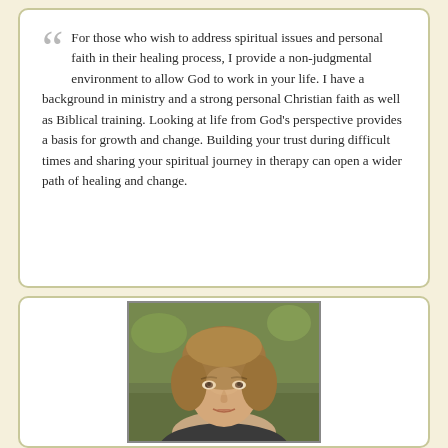For those who wish to address spiritual issues and personal faith in their healing process, I provide a non-judgmental environment to allow God to work in your life. I have a background in ministry and a strong personal Christian faith as well as Biblical training. Looking at life from God's perspective provides a basis for growth and change. Building your trust during difficult times and sharing your spiritual journey in therapy can open a wider path of healing and change.
[Figure (photo): Portrait photo of a middle-aged woman with shoulder-length light brown hair, against a blurred green outdoor background.]